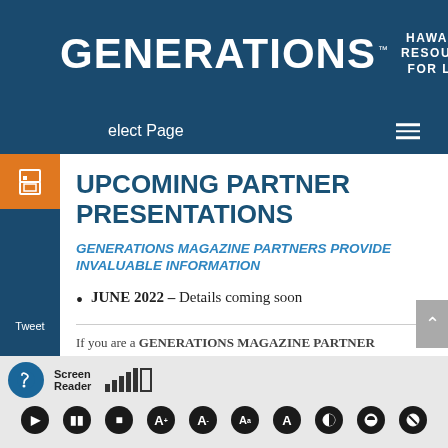GENERATIONS HAWAII'S RESOURCE FOR LIFE
UPCOMING PARTNER PRESENTATIONS
GENERATIONS MAGAZINE PARTNERS PROVIDE INVALUABLE INFORMATION
JUNE 2022 – Details coming soon
If you are a GENERATIONS MAGAZINE PARTNER
[Figure (screenshot): Screen Reader accessibility toolbar at bottom with audio controls including play, pause, stop, font size, contrast, and other accessibility buttons]